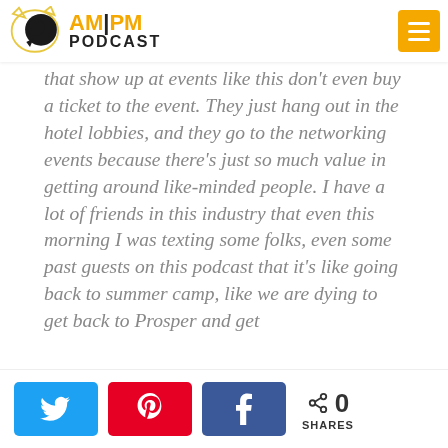AM|PM PODCAST
that show up at events like this don't even buy a ticket to the event. They just hang out in the hotel lobbies, and they go to the networking events because there's just so much value in getting around like-minded people. I have a lot of friends in this industry that even this morning I was texting some folks, even some past guests on this podcast that it's like going back to summer camp, like we are dying to get back to Prosper and get
0 SHARES